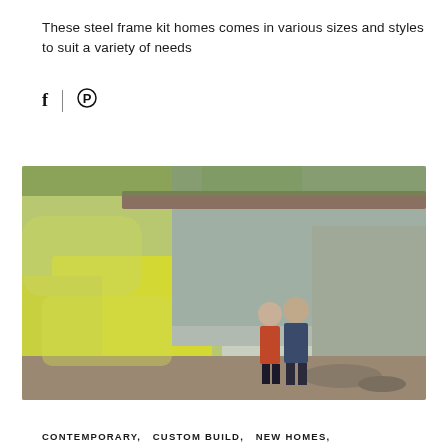These steel frame kit homes comes in various sizes and styles to suit a variety of needs
[Figure (photo): A couple standing outside a modern steel frame kit home surrounded by yellow foliage and greenery, with large glass windows visible on the building facade.]
CONTEMPORARY,  CUSTOM BUILD,  NEW HOMES,